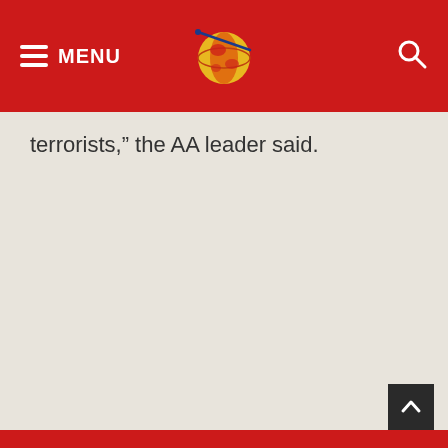MENU
terrorists,” the AA leader said.